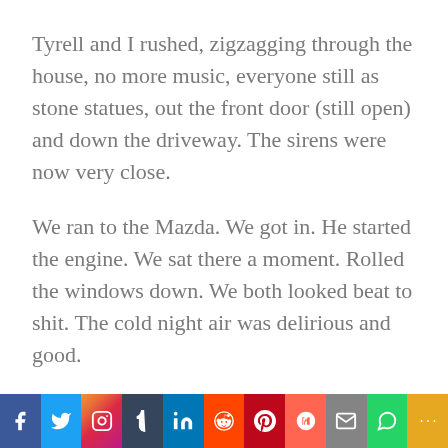Tyrell and I rushed, zigzagging through the house, no more music, everyone still as stone statues, out the front door (still open) and down the driveway. The sirens were now very close.
We ran to the Mazda. We got in. He started the engine. We sat there a moment. Rolled the windows down. We both looked beat to shit. The cold night air was delirious and good.
Tyrell looked at me. He shook his head. “That was fucked up. Racist Nazi motherfucker.”
[Figure (infographic): Social media sharing bar with icons for Facebook, Twitter, Instagram, Tumblr, LinkedIn, Reddit, Pinterest, Mix, Email, WhatsApp, and More]